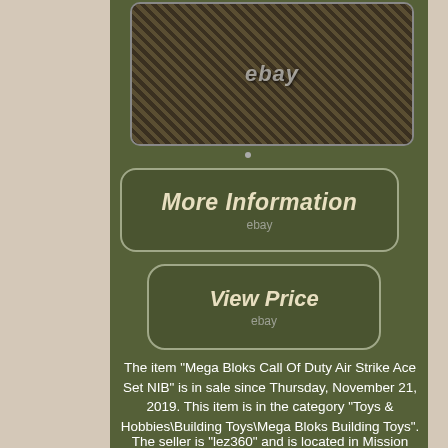[Figure (photo): Product photo of Mega Bloks Call Of Duty Air Strike Ace Set on a floral patterned fabric background, with eBay watermark]
[Figure (other): More Information button with eBay branding]
[Figure (other): View Price button with eBay branding]
The item "Mega Bloks Call Of Duty Air Strike Ace Set NIB" is in sale since Thursday, November 21, 2019. This item is in the category "Toys & Hobbies\Building Toys\Mega Bloks Building Toys".
The seller is "lez360" and is located in Mission